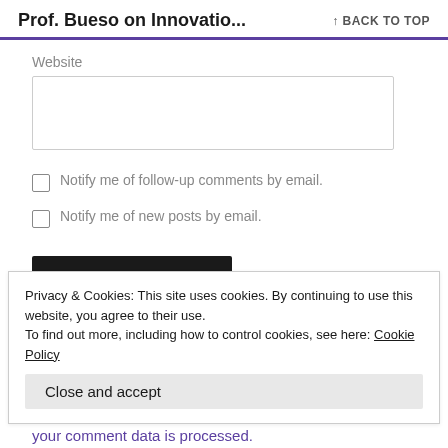Prof. Bueso on Innovatio... ↑ BACK TO TOP
Website
Notify me of follow-up comments by email.
Notify me of new posts by email.
Privacy & Cookies: This site uses cookies. By continuing to use this website, you agree to their use. To find out more, including how to control cookies, see here: Cookie Policy
Close and accept
your comment data is processed.